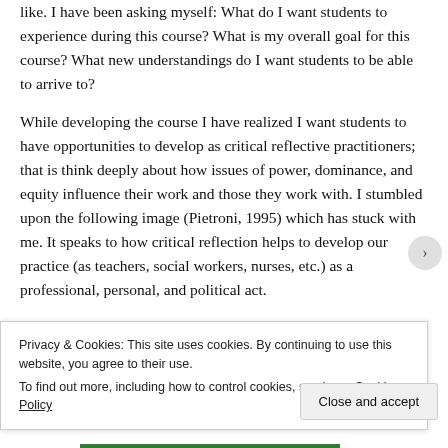like. I have been asking myself: What do I want students to experience during this course? What is my overall goal for this course? What new understandings do I want students to be able to arrive to?
While developing the course I have realized I want students to have opportunities to develop as critical reflective practitioners;  that is think deeply about how issues of power, dominance, and equity influence their work and those they work with. I stumbled upon the following image (Pietroni, 1995) which has stuck with me. It speaks to how critical reflection helps to develop our practice (as teachers, social workers, nurses, etc.) as a professional, personal, and political act.
Privacy & Cookies: This site uses cookies. By continuing to use this website, you agree to their use. To find out more, including how to control cookies, see here: Cookie Policy
Close and accept